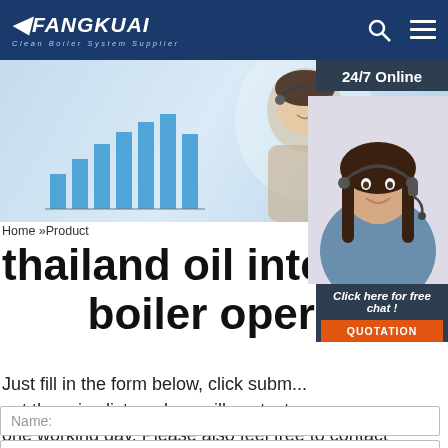FANGKUAI Clean Boiler System Supplier
[Figure (photo): Woman with headset smiling, with bar chart on monitor in background; blue/light office environment]
24/7 Online
[Figure (photo): Female customer support agent with headset smiling, dark hair, blue shirt]
Click here for free chat !
QUOTATION
Home »Product
thailand oil integrated boiler operates
Just fill in the form below, click submit, get the price list, and we will contact you within one working day. Please also feel free to contact us via email or phone. (* is required).
Name:
Email: